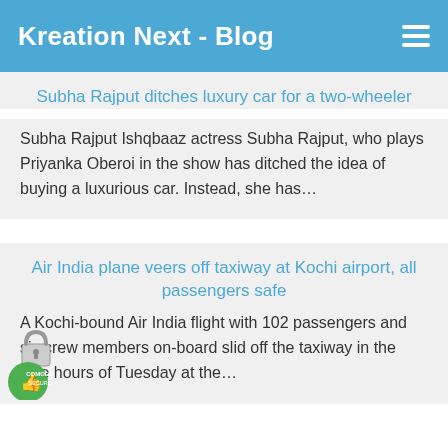Kreation Next - Blog
Subha Rajput ditches luxury car for a two-wheeler
Subha Rajput Ishqbaaz actress Subha Rajput, who plays Priyanka Oberoi in the show has ditched the idea of buying a luxurious car. Instead, she has…
Air India plane veers off taxiway at Kochi airport, all passengers safe
A Kochi-bound Air India flight with 102 passengers and six crew members on-board slid off the taxiway in the wee hours of Tuesday at the…